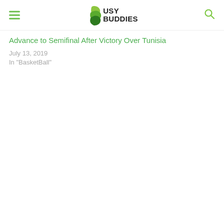Busy Buddies
Advance to Semifinal After Victory Over Tunisia
July 13, 2019
In "BasketBall"